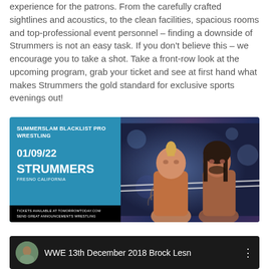experience for the patrons. From the carefully crafted sightlines and acoustics, to the clean facilities, spacious rooms and top-professional event personnel – finding a downside of Strummers is not an easy task. If you don't believe this – we encourage you to take a shot. Take a front-row look at the upcoming program, grab your ticket and see at first hand what makes Strummers the gold standard for exclusive sports evenings out!
[Figure (photo): SummerSlam Blacklist Pro Wrestling event card. Left panel: blue background with text 'SUMMERSLAM BLACKLIST PRO WRESTLING', '01/09/22', 'STRUMMERS', 'FRESNO CALIFORNIA', black bottom bar with 'TICKETS AVAILABLE AT TOMORROWTODAY.COM' and 'SEND GREAT ANNOUNCEMENTS WRESTLING'. Right panel: photo of two WWE wrestlers facing each other near the ropes.]
[Figure (screenshot): Video thumbnail showing a person's avatar icon on the left, and text 'WWE 13th December 2018 Brock Lesn' with a three-dot menu icon on the right, on a dark background.]